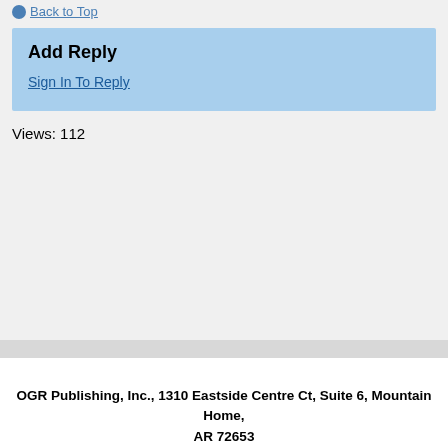Back to Top
Add Reply
Sign In To Reply
Views: 112
[Figure (logo): powered by CROWDSTACKPRO logo with bird icon]
OGR Publishing, Inc., 1310 Eastside Centre Ct, Suite 6, Mountain Home, AR 72653
330-757-3020
www.ogaugerr.com